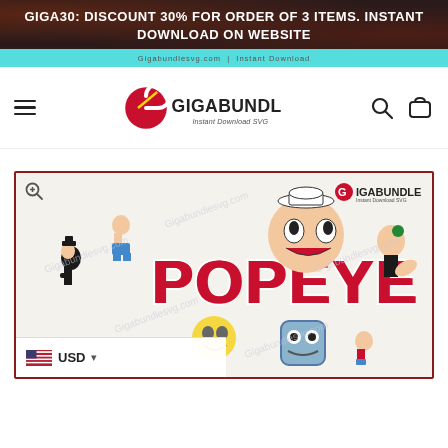GIGA30: DISCOUNT 30% FOR ORDER OF 3 ITEMS. INSTANT DOWNLOAD ON WEBSITE
[Figure (logo): Gigabundle logo with red G icon and text 'GIGABUNDLE Instant Download SVG']
[Figure (screenshot): Popeye SVG bundle product image showing multiple Popeye the Sailor Man cartoon characters with 'POPEYE' text logo in red, watermarked with Gigabundlesvg.com]
USD